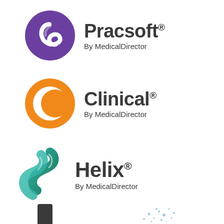[Figure (logo): Pracsoft by MedicalDirector logo - purple circle with white P icon, text 'Pracsoft' with registered trademark, 'By MedicalDirector' below]
[Figure (logo): Clinical by MedicalDirector logo - orange circle with white C icon, text 'Clinical' with registered trademark, 'By MedicalDirector' below]
[Figure (logo): Helix by MedicalDirector logo - teal/green double helix icon, text 'Helix' with registered trademark, 'By MedicalDirector' below]
[Figure (logo): Partial logos visible at the bottom of the page, partially cut off]